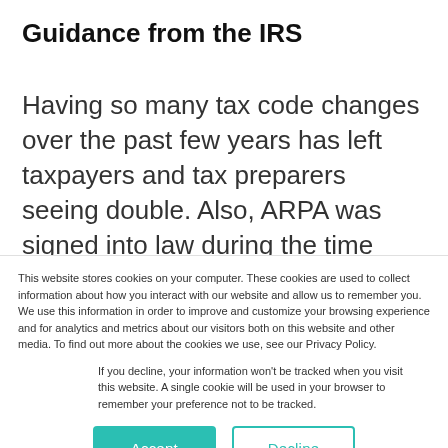Guidance from the IRS
Having so many tax code changes over the past few years has left taxpayers and tax preparers seeing double. Also, ARPA was signed into law during the time most people were getting their
This website stores cookies on your computer. These cookies are used to collect information about how you interact with our website and allow us to remember you. We use this information in order to improve and customize your browsing experience and for analytics and metrics about our visitors both on this website and other media. To find out more about the cookies we use, see our Privacy Policy.
If you decline, your information won't be tracked when you visit this website. A single cookie will be used in your browser to remember your preference not to be tracked.